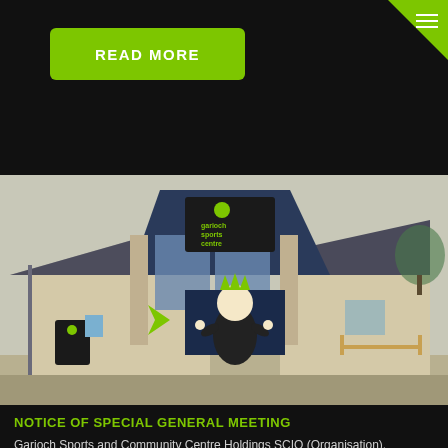READ MORE
[Figure (photo): Exterior photograph of Garioch Sports Centre building with glass A-frame entrance, logo signage, and a mascot character standing in front]
NOTICE OF SPECIAL GENERAL MEETING
Garioch Sports and Community Centre Holdings SCIO (Organisation). NOTICE IS HEREBY GIVEN THAT a Special General Members Meeting of the ...